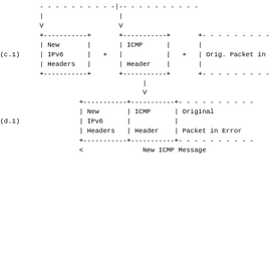[Figure (schematic): Network packet diagram showing ICMP message construction for IPv6. Part (c.1) shows New IPv6 Headers + ICMP Header + Orig. Packet in Error combining (with arrows) into the structure shown in (d.1): New IPv6 Headers | ICMP Header | Original Packet in Error. Labeled as New ICMP Message.]